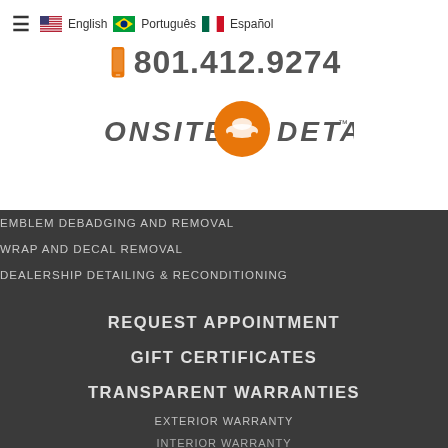☰ 🇺🇸 English 🇧🇷 Português 🇲🇽 Español
[Figure (logo): Onsite Detail logo with orange circle containing car silhouette, italic text ONSITE DETAIL]
📱 801.412.9274
EMBLEM DEBADGING AND REMOVAL
WRAP AND DECAL REMOVAL
DEALERSHIP DETAILING & RECONDITIONING
EVENT & SHOW SERVICES
REQUEST APPOINTMENT
GIFT CERTIFICATES
TRANSPARENT WARRANTIES
EXTERIOR WARRANTY
INTERIOR WARRANTY